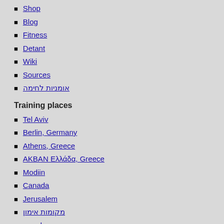Shop
Blog
Fitness
Detant
Wiki
Sources
אומניות לחימה
Training places
Tel Aviv
Berlin, Germany
Athens, Greece
AKBAN Ελλάδα, Greece
Modiin
Canada
Jerusalem
מקומות אימון
תל אביב
ירושלים
פרדס חנה
רמת השרון